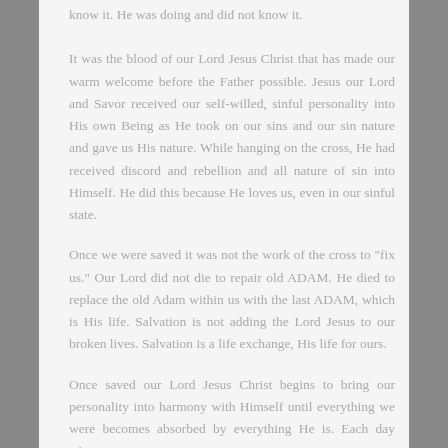know it. He was doing and did not know it.
It was the blood of our Lord Jesus Christ that has made our warm welcome before the Father possible. Jesus our Lord and Savor received our self-willed, sinful personality into His own Being as He took on our sins and our sin nature and gave us His nature. While hanging on the cross, He had received discord and rebellion and all nature of sin into Himself. He did this because He loves us, even in our sinful state.
Once we were saved it was not the work of the cross to "fix us." Our Lord did not die to repair old ADAM. He died to replace the old Adam within us with the last ADAM, which is His life. Salvation is not adding the Lord Jesus to our broken lives. Salvation is a life exchange, His life for ours.
Once saved our Lord Jesus Christ begins to bring our personality into harmony with Himself until everything we were becomes absorbed by everything He is. Each day when